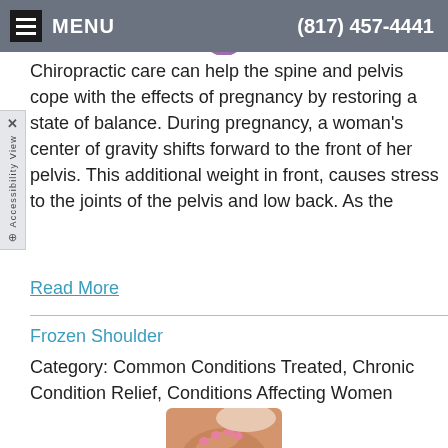MENU  (817) 457-4441
[Figure (photo): Pregnant woman in purple dress, partially visible at top]
Chiropractic care can help the spine and pelvis cope with the effects of pregnancy by restoring a state of balance. During pregnancy, a woman's center of gravity shifts forward to the front of her pelvis. This additional weight in front, causes stress to the joints of the pelvis and low back. As the
Read More
Frozen Shoulder
Category: Common Conditions Treated, Chronic Condition Relief, Conditions Affecting Women
[Figure (photo): Hands pressing on a shoulder showing pain/inflammation with red glow]